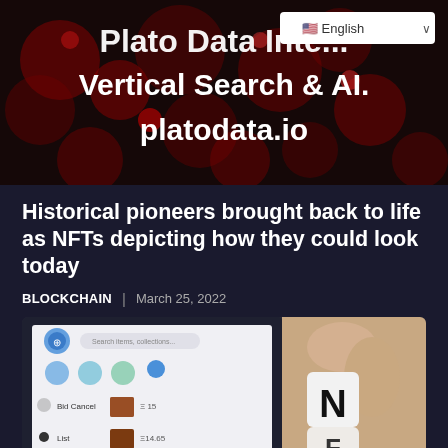[Figure (screenshot): Plato Data Intelligence banner with dark red bokeh background showing text 'Plato Data Intelligence. Vertical Search & AI. platodata.io' with an English language selector in top right corner]
Historical pioneers brought back to life as NFTs depicting how they could look today
BLOCKCHAIN | March 25, 2022
[Figure (photo): Photo of a tablet showing an NFT marketplace interface (OpenSea) with Bid Cancel and List items, alongside physical white letter tiles spelling NFT held by a hand]